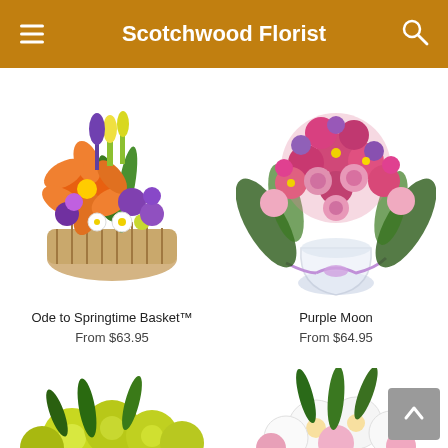Scotchwood Florist
[Figure (photo): Flower arrangement in a wicker basket with orange lilies, purple and white flowers — Ode to Springtime Basket]
Ode to Springtime Basket™
From $63.95
[Figure (photo): Pink and purple flower bouquet in a glass vase with purple ribbon — Purple Moon]
Purple Moon
From $64.95
[Figure (photo): Yellow-green flower arrangement (partial view at bottom)]
[Figure (photo): White and pink flower arrangement (partial view at bottom)]